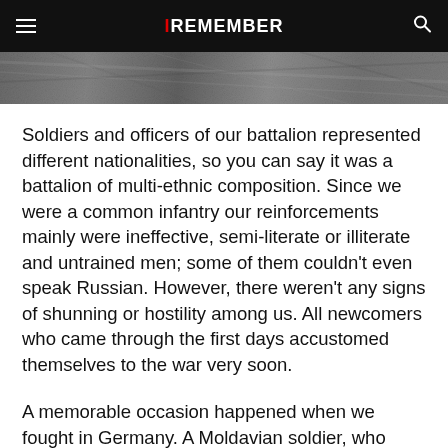IREMEMBER
[Figure (photo): Grainy black and white photograph strip, partially visible at top of page]
Soldiers and officers of our battalion represented different nationalities, so you can say it was a battalion of multi-ethnic composition. Since we were a common infantry our reinforcements mainly were ineffective, semi-literate or illiterate and untrained men; some of them couldn't even speak Russian. However, there weren't any signs of shunning or hostility among us. All newcomers who came through the first days accustomed themselves to the war very soon.
A memorable occasion happened when we fought in Germany. A Moldavian soldier, who barely spoke